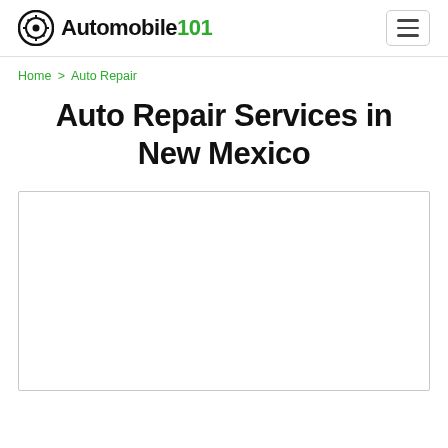Automobile101 [logo] [hamburger menu]
Home > Auto Repair
Auto Repair Services in New Mexico
[Figure (other): Empty map or content placeholder box with light gray border]